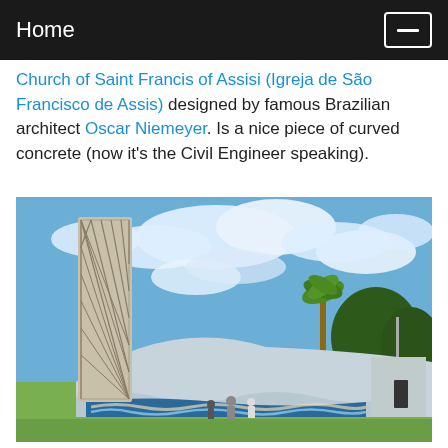Home
Church of Saint Francis of Assisi (Igreja de São Francisco de Assis) designed by famous Brazilian architect Oscar Niemeyer. Is a nice piece of curved concrete (now it's the Civil Engineer speaking).
[Figure (photo): Photograph of the Church of Saint Francis of Assisi (Pampulha, Brazil), designed by Oscar Niemeyer. Shows a tall latticed concrete bell tower on the left, a white curved concrete roof/wall with blue tile murals at the base, a palm tree and trees in background, blue sky with white clouds, and a few people standing in front of the building.]